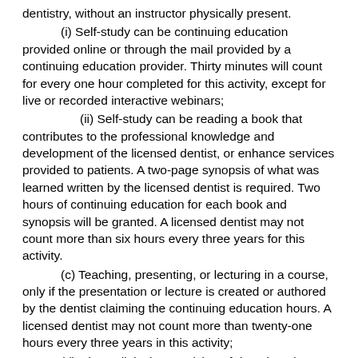dentistry, without an instructor physically present.
(i) Self-study can be continuing education provided online or through the mail provided by a continuing education provider. Thirty minutes will count for every one hour completed for this activity, except for live or recorded interactive webinars;
(ii) Self-study can be reading a book that contributes to the professional knowledge and development of the licensed dentist, or enhance services provided to patients. A two-page synopsis of what was learned written by the licensed dentist is required. Two hours of continuing education for each book and synopsis will be granted. A licensed dentist may not count more than six hours every three years for this activity.
(c) Teaching, presenting, or lecturing in a course, only if the presentation or lecture is created or authored by the dentist claiming the continuing education hours. A licensed dentist may not count more than twenty-one hours every three years in this activity;
(d) Direct clinical supervision of dental students